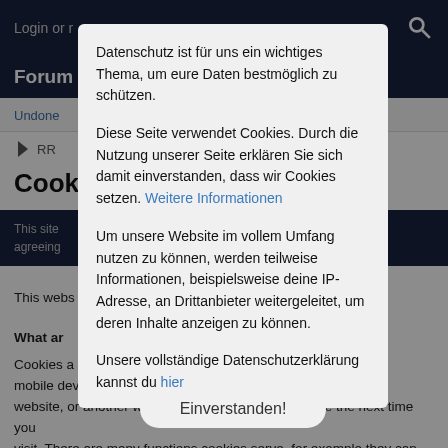Login or r...
Forum
Undone
RR
Cook...
This site... agreeing...
This webs... you will find an ex...
What ar...
Cookies a... computer or mobile devi... help the website, or another website, to recognise your device the next time you visit. There are many functions cookies serve, for example they can help us to remember your username and preferences.
Datenschutz ist für uns ein wichtiges Thema, um eure Daten bestmöglich zu schützen.

Diese Seite verwendet Cookies. Durch die Nutzung unserer Seite erklären Sie sich damit einverstanden, dass wir Cookies setzen. Weitere Informationen

Um unsere Website im vollem Umfang nutzen zu können, werden teilweise Informationen, beispielsweise deine IP-Adresse, an Drittanbieter weitergeleitet, um deren Inhalte anzeigen zu können.

Unsere vollständige Datenschutzerklärung kannst du hier
Einverstanden!